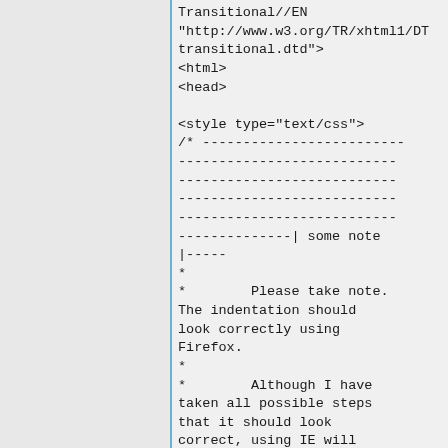Transitional//EN
"http://www.w3.org/TR/xhtml1/DTD/xhtml1-transitional.dtd">
<html>
<head>

<style type="text/css">
/* -------------------------
---------------------------
---------------------------
---------------------------
---------------------------
--------------| some note
|-----
*
*        Please take note. The indentation should look correctly using Firefox.
*
*        Although I have taken all possible steps that it should look correct, using IE will somehow still make it look